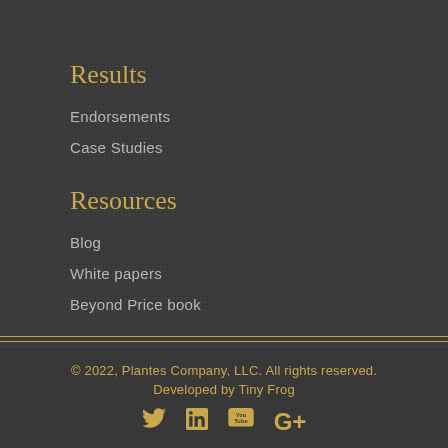Results
Endorsements
Case Studies
Resources
Blog
White papers
Beyond Price book
© 2022, Plantes Company, LLC. All rights reserved.
Developed by Tiny Frog